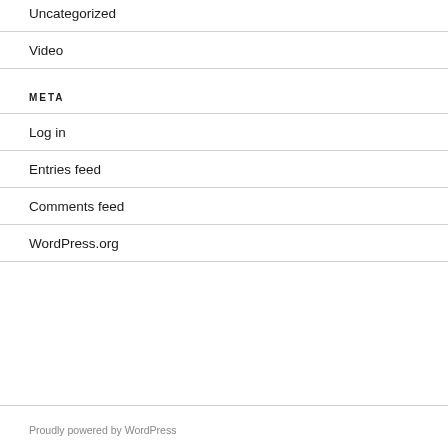Uncategorized
Video
META
Log in
Entries feed
Comments feed
WordPress.org
Proudly powered by WordPress